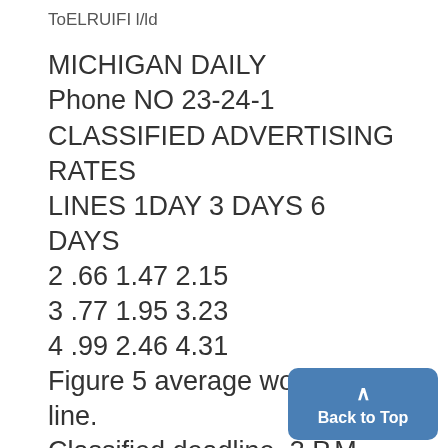ToELRUIFI l/ld
MICHIGAN DAILY
Phone NO 23-24-1
CLASSIFIED ADVERTISING RATES
LINES 1DAY 3 DAYS 6 DAYS
2 .66 1.47 2.15
3 .77 1.95 3.23
4 .99 2.46 4.31
Figure 5 average words to a line.
Classified deadline, 3 P.M, daily
1:00 A.M. Saturday
LOST AND FOUND